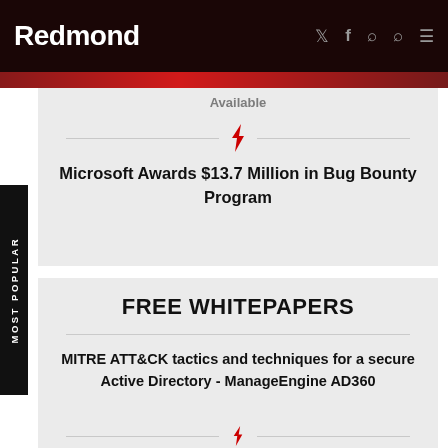Redmond
Available
Microsoft Awards $13.7 Million in Bug Bounty Program
FREE WHITEPAPERS
MITRE ATT&CK tactics and techniques for a secure Active Directory - ManageEngine AD360